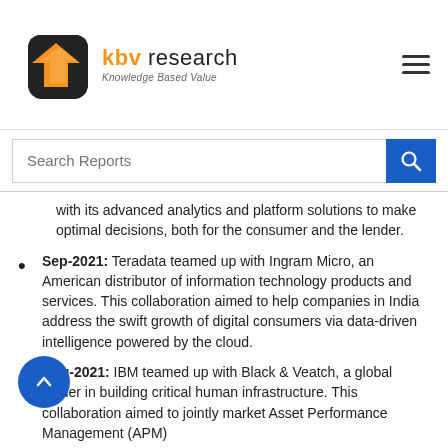KBV Research — Knowledge Based Value
with its advanced analytics and platform solutions to make optimal decisions, both for the consumer and the lender.
Sep-2021: Teradata teamed up with Ingram Micro, an American distributor of information technology products and services. This collaboration aimed to help companies in India address the swift growth of digital consumers via data-driven intelligence powered by the cloud.
Aug-2021: IBM teamed up with Black & Veatch, a global leader in building critical human infrastructure. This collaboration aimed to jointly market Asset Performance Management (APM)